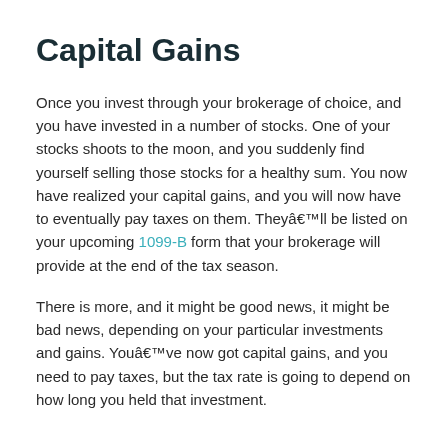Capital Gains
Once you invest through your brokerage of choice, and you have invested in a number of stocks. One of your stocks shoots to the moon, and you suddenly find yourself selling those stocks for a healthy sum. You now have realized your capital gains, and you will now have to eventually pay taxes on them. Theyâ€™ll be listed on your upcoming 1099-B form that your brokerage will provide at the end of the tax season.
There is more, and it might be good news, it might be bad news, depending on your particular investments and gains. Youâ€™ve now got capital gains, and you need to pay taxes, but the tax rate is going to depend on how long you held that investment.